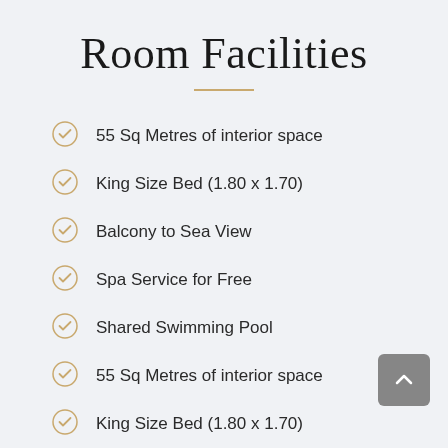Room Facilities
55 Sq Metres of interior space
King Size Bed (1.80 x 1.70)
Balcony to Sea View
Spa Service for Free
Shared Swimming Pool
55 Sq Metres of interior space
King Size Bed (1.80 x 1.70)
Balcony to Sea View